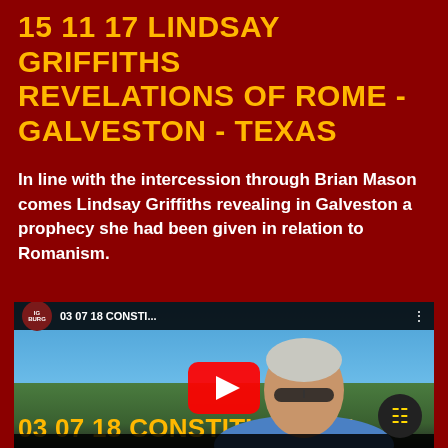15 11 17 LINDSAY GRIFFITHS REVELATIONS OF ROME - GALVESTON - TEXAS
In line with the intercession through Brian Mason comes Lindsay Griffiths revealing in Galveston a prophecy she had been given in relation to Romanism.
[Figure (screenshot): YouTube video thumbnail showing a man in a blue jacket outdoors with text '03 07 18 CONSTI...' and a YouTube play button overlay. A red circular logo appears in the top left of the video. A dark chat bubble icon is visible in the bottom right corner.]
03 07 18 CONSTITUTIONAL -